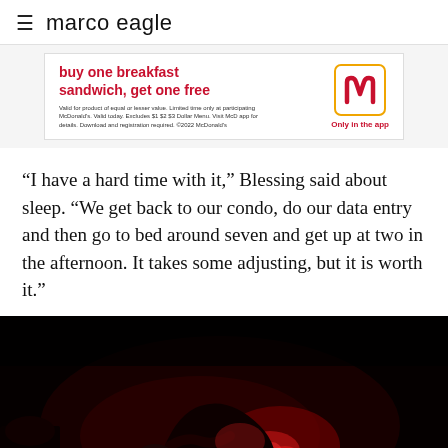marco eagle
[Figure (photo): McDonald's advertisement banner: 'buy one breakfast sandwich, get one free' with McDonald's logo and 'Only in the app' text]
“I have a hard time with it,” Blessing said about sleep. “We get back to our condo, do our data entry and then go to bed around seven and get up at two in the afternoon. It takes some adjusting, but it is worth it.”
[Figure (photo): Dark photograph of a person working outdoors at night, illuminated by red light, appearing to handle equipment]